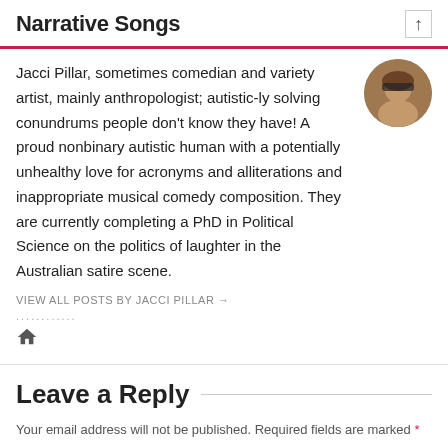Narrative Songs
[Figure (photo): Circular avatar photo of Jacci Pillar, a person wearing dark-rimmed glasses]
Jacci Pillar, sometimes comedian and variety artist, mainly anthropologist; autistic-ly solving conundrums people don't know they have! A proud nonbinary autistic human with a potentially unhealthy love for acronyms and alliterations and inappropriate musical comedy composition. They are currently completing a PhD in Political Science on the politics of laughter in the Australian satire scene.
VIEW ALL POSTS BY JACCI PILLAR →
............
[Figure (illustration): Home icon (house symbol)]
Leave a Reply
Your email address will not be published. Required fields are marked *